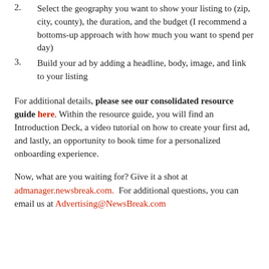2. Select the geography you want to show your listing to (zip, city, county), the duration, and the budget (I recommend a bottoms-up approach with how much you want to spend per day)
3. Build your ad by adding a headline, body, image, and link to your listing
For additional details, please see our consolidated resource guide here. Within the resource guide, you will find an Introduction Deck, a video tutorial on how to create your first ad, and lastly, an opportunity to book time for a personalized onboarding experience.
Now, what are you waiting for? Give it a shot at admanager.newsbreak.com.  For additional questions, you can email us at Advertising@NewsBreak.com